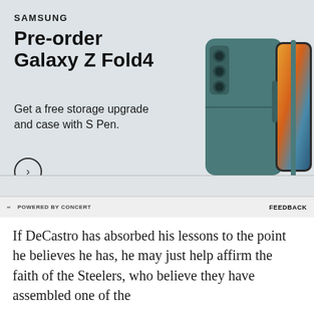[Figure (advertisement): Samsung Galaxy Z Fold4 pre-order advertisement. Dark teal/grey background showing the folded phone with S Pen case. Text: SAMSUNG, Pre-order Galaxy Z Fold4, Get a free storage upgrade and case with S Pen. Arrow CTA button. Disclaimer: See terms and conditions. S Pen compatible only with Galaxy Z Fold4 main display.]
POWERED BY CONCERT   FEEDBACK
If DeCastro has absorbed his lessons to the point he believes he has, he may just help affirm the faith of the Steelers, who believe they have assembled one of the